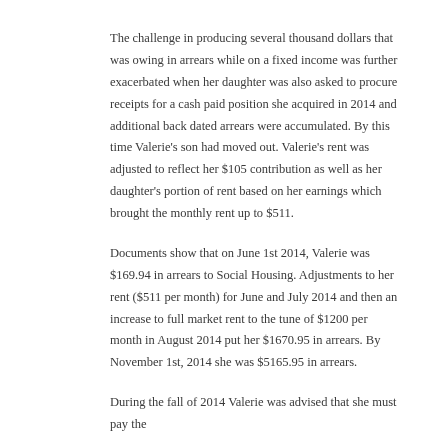The challenge in producing several thousand dollars that was owing in arrears while on a fixed income was further exacerbated when her daughter was also asked to procure receipts for a cash paid position she acquired in 2014 and additional back dated arrears were accumulated. By this time Valerie's son had moved out. Valerie's rent was adjusted to reflect her $105 contribution as well as her daughter's portion of rent based on her earnings which brought the monthly rent up to $511.
Documents show that on June 1st 2014, Valerie was $169.94 in arrears to Social Housing. Adjustments to her rent ($511 per month) for June and July 2014 and then an increase to full market rent to the tune of $1200 per month in August 2014 put her $1670.95 in arrears. By November 1st, 2014 she was $5165.95 in arrears.
During the fall of 2014 Valerie was advised that she must pay the